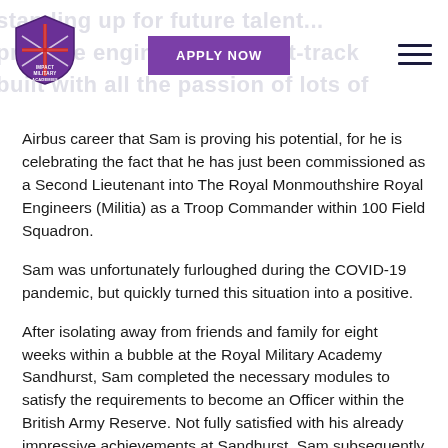IMPACT MILITARY ACADEMIES logo, APPLY NOW button, hamburger menu
Airbus career that Sam is proving his potential, for he is celebrating the fact that he has just been commissioned as a Second Lieutenant into The Royal Monmouthshire Royal Engineers (Militia) as a Troop Commander within 100 Field Squadron.
Sam was unfortunately furloughed during the COVID-19 pandemic, but quickly turned this situation into a positive.
After isolating away from friends and family for eight weeks within a bubble at the Royal Military Academy Sandhurst, Sam completed the necessary modules to satisfy the requirements to become an Officer within the British Army Reserve. Not fully satisfied with his already impressive achievements at Sandhurst, Sam subsequently enrolled on a two week troop commanders course,